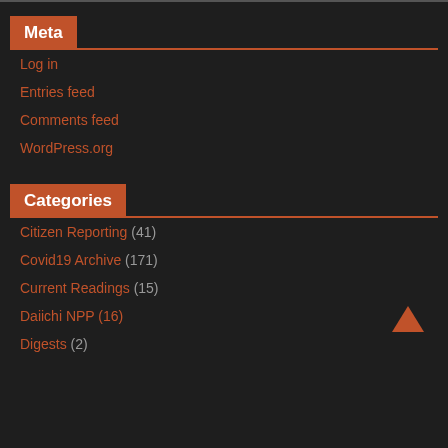Meta
Log in
Entries feed
Comments feed
WordPress.org
Categories
Citizen Reporting (41)
Covid19 Archive (171)
Current Readings (15)
Daiichi NPP (16)
Digests (2)